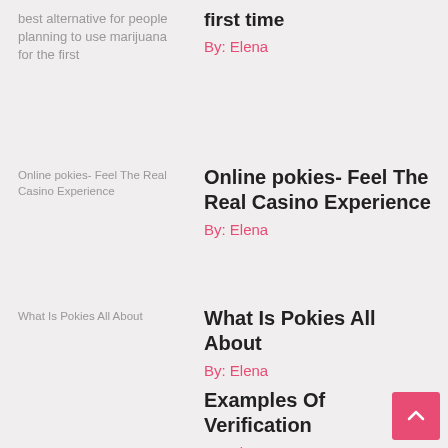best alternative for people planning to use marijuana for the first
first time
By: Elena
[Figure (photo): Thumbnail image placeholder with alt text: Online pokies- Feel The Real Casino Experience]
Online pokies- Feel The Real Casino Experience
By: Elena
[Figure (photo): Thumbnail image placeholder with alt text: What Is Pokies All About]
What Is Pokies All About
By: Elena
Examples Of Verification
By: Elena